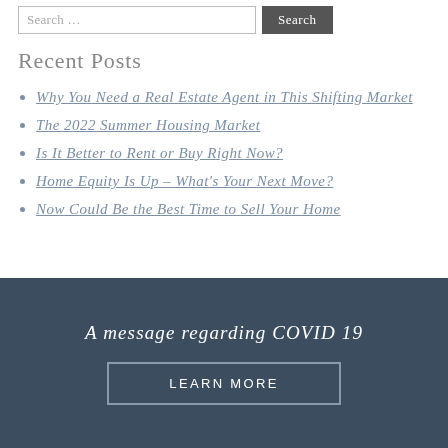Recent Posts
Why You Need a Real Estate Agent in This Shifting Market
The 2022 Summer Housing Market
Is It Better to Rent or Buy Right Now?
Home Equity Is Up – What's Your Next Move?
Now Could Be the Best Time to Sell Your Home
A message regarding COVID 19
LEARN MORE